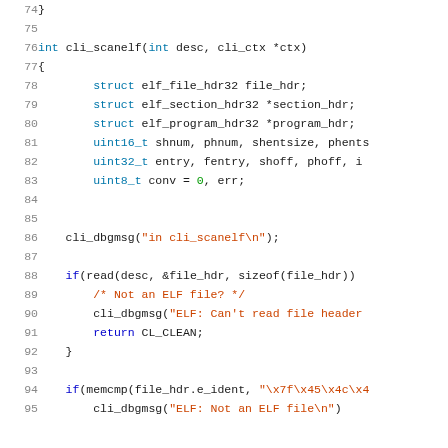Source code listing lines 74-95, C code for cli_scanelf function